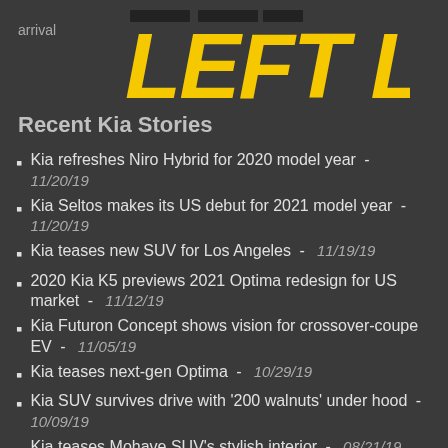[Figure (logo): Left Lane logo — stylized text 'LEFT LANE' in bold yellow/black letters on dark background]
arrival
Recent Kia Stories
Kia refreshes Niro Hybrid for 2020 model year - 11/20/19
Kia Seltos makes its US debut for 2021 model year - 11/20/19
Kia teases new SUV for Los Angeles - 11/19/19
2020 Kia K5 previews 2021 Optima redesign for US market - 11/12/19
Kia Futuron Concept shows vision for crossover-coupe EV - 11/05/19
Kia teases next-gen Optima - 10/29/19
Kia SUV survives drive with '200 walnuts' under hood - 10/09/19
Kia teases Mohave SUV's stylish interior - 08/21/19
Kia developing body-on-frame pickup - 07/27/19
Kia Telluride earns Top Safety Pick status - 07/24/19